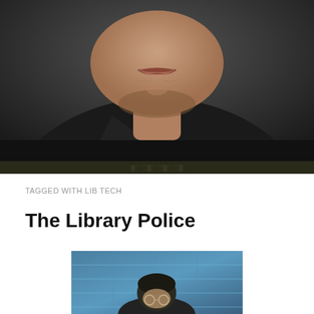[Figure (photo): Close-up portrait of a middle-aged man in a black shirt against a dark background, showing his lower face, neck and upper chest]
TAGGED WITH LIB TECH
The Library Police
[Figure (photo): Person with head bowed, viewed from above, against a blue-toned background suggesting a library or institutional setting]